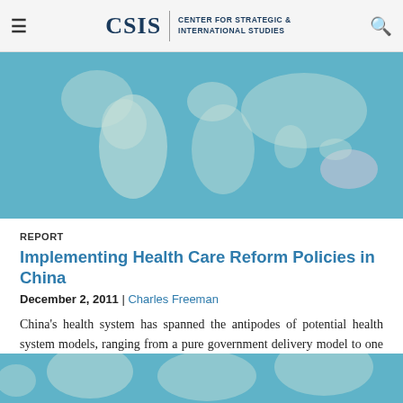CSIS | CENTER FOR STRATEGIC & INTERNATIONAL STUDIES
[Figure (illustration): World map graphic showing continents in light teal/blue tones with subtle country shading, used as decorative header background image for the CSIS report page.]
REPORT
Implementing Health Care Reform Policies in China
December 2, 2011 | Charles Freeman
China's health system has spanned the antipodes of potential health system models, ranging from a pure government delivery model to one radically driven by profit incentives, and now China is seeking a hybrid to suit its hybrid economy.
[Figure (illustration): Partial world map graphic in teal/blue at the bottom of the page, matching the top header map graphic.]